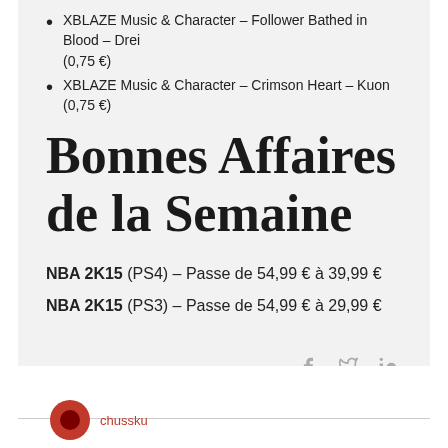XBLAZE Music & Character – Follower Bathed in Blood – Drei (0,75 €)
XBLAZE Music & Character – Crimson Heart – Kuon (0,75 €)
Bonnes Affaires de la Semaine
NBA 2K15 (PS4) – Passe de 54,99 € à 39,99 €
NBA 2K15 (PS3) – Passe de 54,99 € à 29,99 €